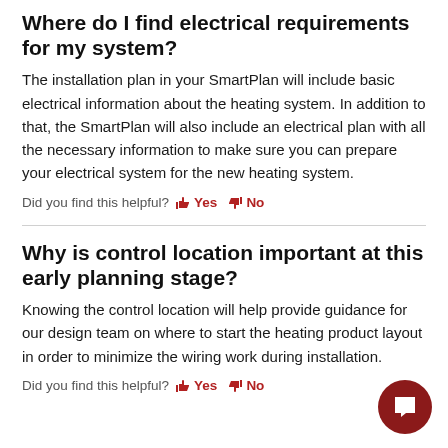Where do I find electrical requirements for my system?
The installation plan in your SmartPlan will include basic electrical information about the heating system. In addition to that, the SmartPlan will also include an electrical plan with all the necessary information to make sure you can prepare your electrical system for the new heating system.
Did you find this helpful? Yes No
Why is control location important at this early planning stage?
Knowing the control location will help provide guidance for our design team on where to start the heating product layout in order to minimize the wiring work during installation.
Did you find this helpful? Yes No